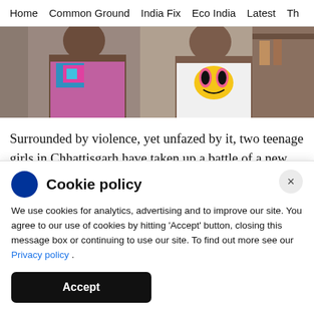Home   Common Ground   India Fix   Eco India   Latest   Th
[Figure (photo): Two teenage girls seated side by side, one wearing a colorful floral top and the other wearing a white t-shirt with a cartoon character print]
Surrounded by violence, yet unfazed by it, two teenage girls in Chhattisgarh have taken up a battle of a new kind. Nineteen-year-old Suneeta Pottam and Munni Pottam, a year younger (not related)
Cookie policy

We use cookies for analytics, advertising and to improve our site. You agree to our use of cookies by hitting 'Accept' button, closing this message box or continuing to use our site. To find out more see our Privacy policy .

[Accept]